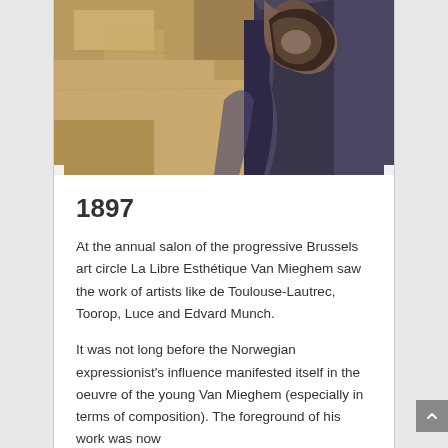[Figure (photo): Partial view of a painting showing an elderly figure with dark, moody expressionist tones in browns and blues]
1897
At the annual salon of the progressive Brussels art circle La Libre Esthétique Van Mieghem saw the work of artists like de Toulouse-Lautrec, Toorop, Luce and Edvard Munch.
It was not long before the Norwegian expressionist's influence manifested itself in the oeuvre of the young Van Mieghem (especially in terms of composition). The foreground of his work was now